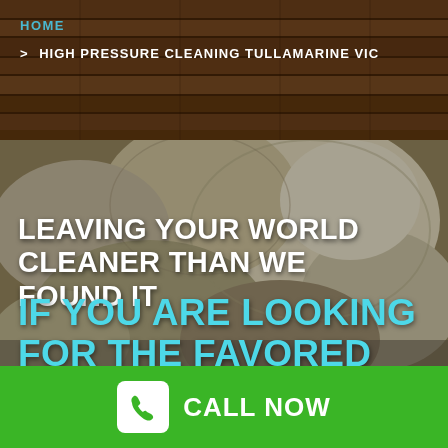HOME
> HIGH PRESSURE CLEANING TULLAMARINE VIC
[Figure (photo): Wooden deck planks photo in top banner area]
[Figure (photo): Large white and beige rocks / stones background photo]
LEAVING YOUR WORLD CLEANER THAN WE FOUND IT
IF YOU ARE LOOKING FOR THE FAVORED
CALL NOW